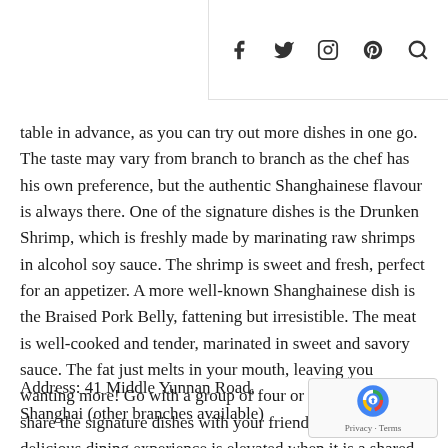social media icons: facebook, twitter, instagram, pinterest, search
table in advance, as you can try out more dishes in one go. The taste may vary from branch to branch as the chef has his own preference, but the authentic Shanghainese flavour is always there. One of the signature dishes is the Drunken Shrimp, which is freshly made by marinating raw shrimps in alcohol soy sauce. The shrimp is sweet and fresh, perfect for an appetizer. A more well-known Shanghainese dish is the Braised Pork Belly, fattening but irresistible. The meat is well-cooked and tender, marinated in sweet and savory sauce. The fat just melts in your mouth, leaving you wanting more! Go with a group of four or five, you can share the signature dishes with your friends or family. A delicious dining experience is elevated when it is a shared one!
Address: 41 Middle Yunnan Road, Shanghai (other branches available)